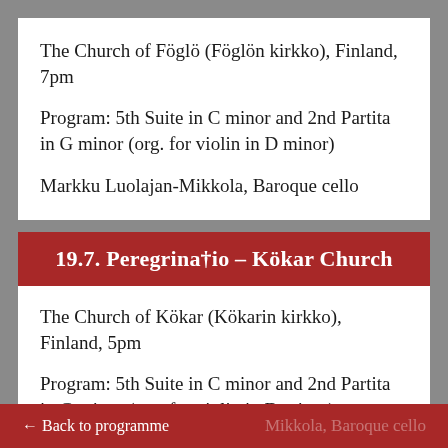The Church of Föglö (Föglön kirkko), Finland, 7pm
Program: 5th Suite in C minor and 2nd Partita in G minor (org. for violin in D minor)
Markku Luolajan-Mikkola, Baroque cello
19.7. Peregrinatio – Kökar Church
The Church of Kökar (Kökarin kirkko), Finland, 5pm
Program: 5th Suite in C minor and 2nd Partita in G minor (org. for violin in D minor)
← Back to programme